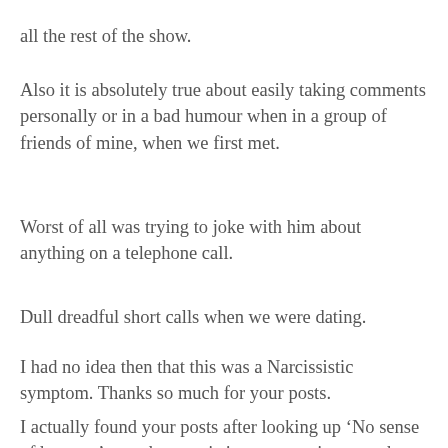all the rest of the show.
Also it is absolutely true about easily taking comments personally or in a bad humour when in a group of friends of mine, when we first met.
Worst of all was trying to joke with him about anything on a telephone call.
Dull dreadful short calls when we were dating.
I had no idea then that this was a Narcissistic symptom. Thanks so much for your posts.
I actually found your posts after looking up ‘No sense of humour’ as a characteristic symptom in a search engine after researching his ‘issues and